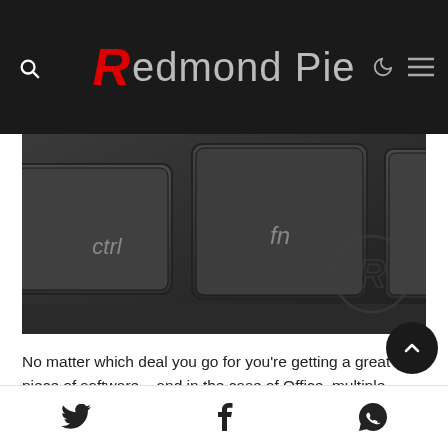Redmond Pie
[Figure (photo): Close-up of a dark laptop keyboard showing Ctrl and Fn keys, with a stylized 'R' logo embossed on the palm rest area.]
No matter which deal you go for you’re getting a great piece of software – and in the case of Office, multiple pieces of software – for prices that might otherwise be impossible to achieve. With that in mind, what are you waiting for?
Just remember that discount code!
Disclosure: This is a sponsored post but we don’t get any commission from sales made on Goodoffer24.
Twitter | Facebook | WhatsApp share icons